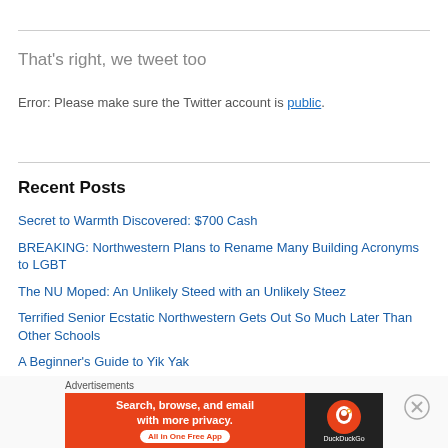That's right, we tweet too
Error: Please make sure the Twitter account is public.
Recent Posts
Secret to Warmth Discovered: $700 Cash
BREAKING: Northwestern Plans to Rename Many Building Acronyms to LGBT
The NU Moped: An Unlikely Steed with an Unlikely Steez
Terrified Senior Ecstatic Northwestern Gets Out So Much Later Than Other Schools
A Beginner's Guide to Yik Yak
[Figure (screenshot): DuckDuckGo advertisement banner: 'Search, browse, and email with more privacy. All in One Free App' with DuckDuckGo logo on dark background]